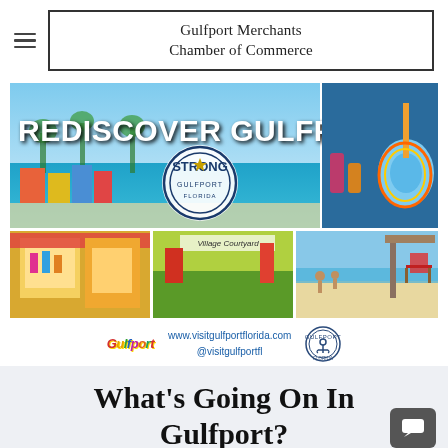Gulfport Merchants Chamber of Commerce
[Figure (photo): Rediscover Gulfport promotional banner with multiple photos: beach/waterfront with 'REDISCOVER GULFPORT' text, Gulfport Strong seal, colorful guitar and drinks, souvenir shop exterior, Village Courtyard outdoor dining with yellow umbrellas, and beach scene. Below the banner: Gulfport logo, www.visitgulfportflorida.com, @visitgulfportfl, and anchor logo.]
What's Going On In Gulfport?